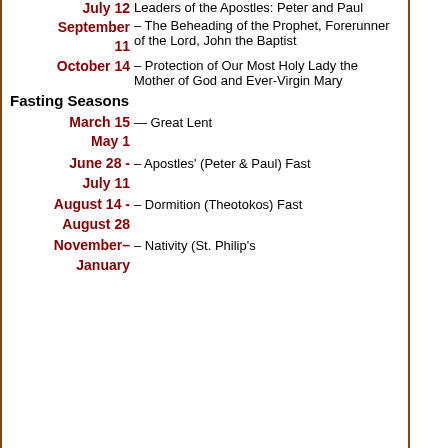July 12 – Leaders of the Apostles: Peter and Paul
September 11 – The Beheading of the Prophet, Forerunner of the Lord, John the Baptist
October 14 – Protection of Our Most Holy Lady the Mother of God and Ever-Virgin Mary
Fasting Seasons
March 15 – May 1 — Great Lent
June 28 - July 11 – Apostles' (Peter & Paul) Fast
August 14 - August 28 – Dormition (Theotokos) Fast
November – January – Nativity (St. Philip's...)